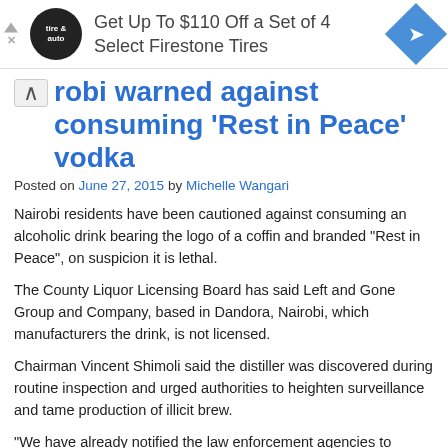[Figure (other): Advertisement banner: Firestone Tires logo on left, text 'Get Up To $110 Off a Set of 4 Select Firestone Tires', blue diamond navigation icon on right]
robi warned against consuming ‘Rest in Peace’ vodka
Posted on June 27, 2015 by Michelle Wangari
Nairobi residents have been cautioned against consuming an alcoholic drink bearing the logo of a coffin and branded “Rest in Peace”, on suspicion it is lethal.
The County Liquor Licensing Board has said Left and Gone Group and Company, based in Dandora, Nairobi, which manufacturers the drink, is not licensed.
Chairman Vincent Shimoli said the distiller was discovered during routine inspection and urged authorities to heighten surveillance and tame production of illicit brew.
“We have already notified the law enforcement agencies to investigate and take action on the owners of the factory,” Shimoli said